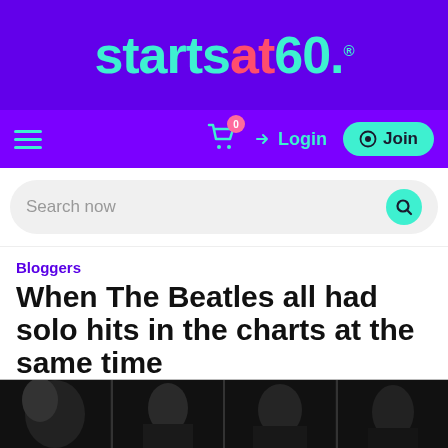startsat60.®
[Figure (screenshot): Navigation bar with hamburger menu, cart icon with badge '0', Login button, and Join button on purple background]
[Figure (screenshot): Search bar with 'Search now' placeholder and teal search button]
Bloggers
When The Beatles all had solo hits in the charts at the same time
Benjamin Hill
Apr 21, 2019
[Figure (photo): Four black and white portrait photos of The Beatles members in a horizontal strip]